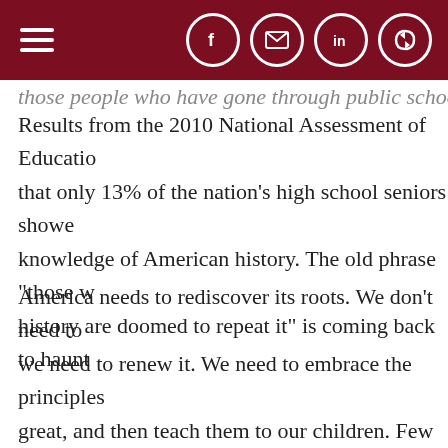[hamburger menu] [facebook] [email] [linkedin] [share]
those people who have gone through public school...
Results from the 2010 National Assessment of Education that only 13% of the nation's high school seniors showed knowledge of American history. The old phrase “those w history are doomed to repeat it” is coming back to haunt
America needs to rediscover its roots. We don’t need to we need to renew it. We need to embrace the principles great, and then teach them to our children. Few underst these principles better than Ronald Reagan. In 1961, he s more than one generation away from extinction. We did children in the bloodstream. It must be fought for, prote for them to do the same, or one day we will...